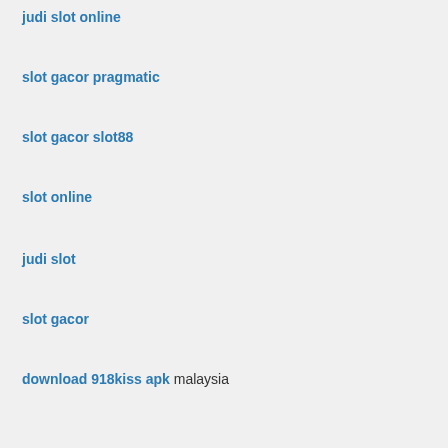judi slot online
slot gacor pragmatic
slot gacor slot88
slot online
judi slot
slot gacor
download 918kiss apk malaysia